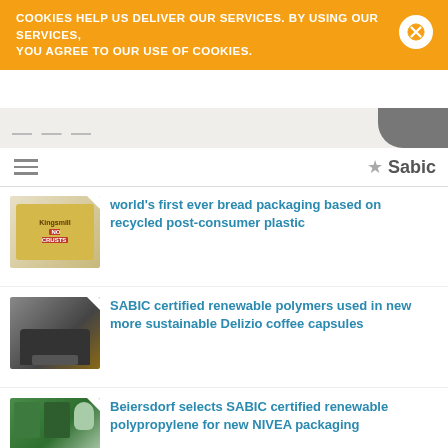COOKIES HELP US DELIVER OUR SERVICES. BY USING OUR SERVICES, YOU AGREE TO OUR USE OF COOKIES.
[Figure (screenshot): SABIC website navigation bar with hamburger menu and Sabic brand name with star icon]
world's first ever bread packaging based on recycled post-consumer plastic
SABIC certified renewable polymers used in new more sustainable Delizio coffee capsules
Beiersdorf selects SABIC certified renewable polypropylene for new NIVEA packaging
REN Clean Skincare with partners SABIC and Aptar wins Beauty Shortlist Award in Best Beauty Brand – Recycling category